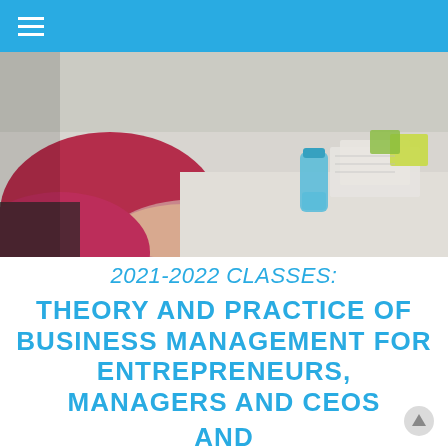[Figure (photo): A person in a red shirt leaning over a desk or table, appearing to write or study. A blue water bottle and papers with sticky notes are visible on the table in the background.]
2021-2022 CLASSES: THEORY AND PRACTICE OF BUSINESS MANAGEMENT FOR ENTREPRENEURS, MANAGERS AND CEOS AND MANAGING PEOPLE